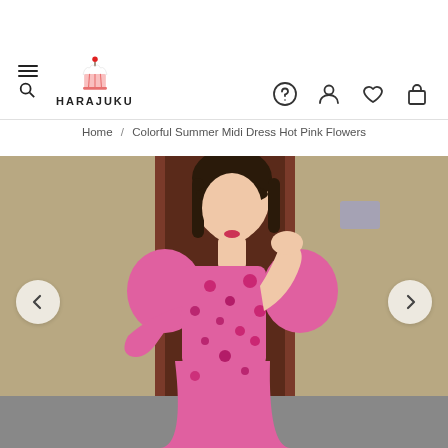HARAJUKU – navigation header with menu, search, logo, help, account, wishlist, cart icons
Home / Colorful Summer Midi Dress Hot Pink Flowers
[Figure (photo): Young Asian woman wearing a pink floral midi dress with puff sleeves and square neckline, posing with hand raised to chin near a doorway.]